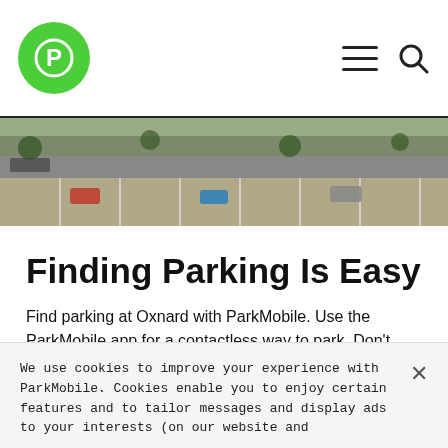ParkMobile logo, navigation menu, search icon
[Figure (photo): Aerial view of a parking lot and street from above]
Finding Parking Is Easy
Find parking at Oxnard with ParkMobile. Use the ParkMobile app for a contactless way to park. Don't waste time looking for coins to pay at the meter. Enter the zone number listed on parking signs around Oxnard in the ParkMobile app to confirm your parking session. That easy. Use the app to reduce the spread of germs and limit the use of the parking meter.
We use cookies to improve your experience with ParkMobile. Cookies enable you to enjoy certain features and to tailor messages and display ads to your interests (on our website and